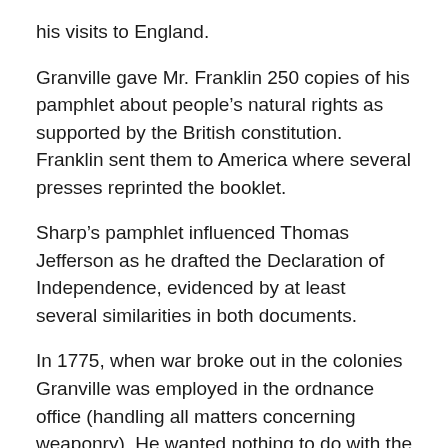his visits to England.
Granville gave Mr. Franklin 250 copies of his pamphlet about people’s natural rights as supported by the British constitution. Franklin sent them to America where several presses reprinted the booklet.
Sharp’s pamphlet influenced Thomas Jefferson as he drafted the Declaration of Independence, evidenced by at least several similarities in both documents.
In 1775, when war broke out in the colonies Granville was employed in the ordnance office (handling all matters concerning weaponry). He wanted nothing to do with the war, so he wrote to his employer: “I cannot return to my ordnance duty whilst a bloody war is carried on, unjustly as I conceive, against my fellow-subjects” (3).